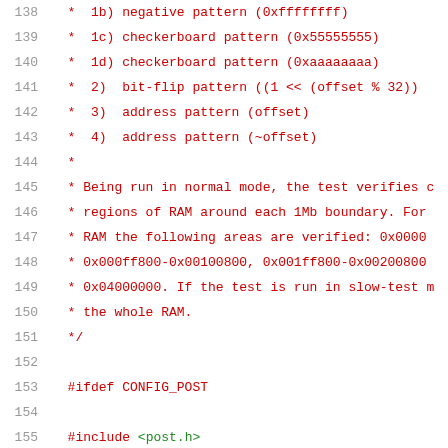Source code listing lines 138-158 showing memory test patterns, RAM boundary verification comments, and preprocessor directives for CONFIG_POST including includes for post.h and watchdog.h